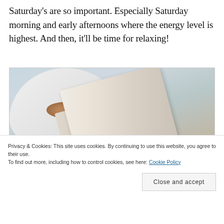Saturday's are so important. Especially Saturday morning and early afternoons where the energy level is highest. And then, it'll be time for relaxing!
[Figure (photo): A person holding an open book, with a white round side table in the background holding a wooden bowl/dish, and green plant visible in the upper right corner. Warm, relaxed home setting.]
Privacy & Cookies: This site uses cookies. By continuing to use this website, you agree to their use.
To find out more, including how to control cookies, see here: Cookie Policy
Close and accept